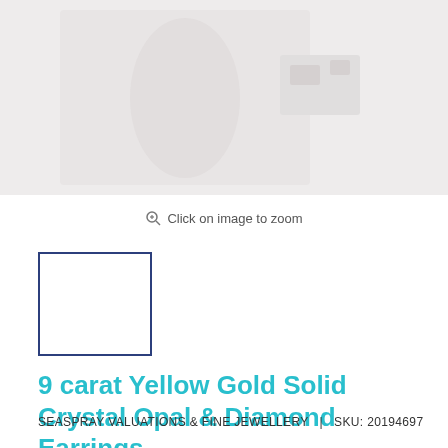[Figure (photo): Product photo of earrings on light grey/white background]
Click on image to zoom
[Figure (photo): Small thumbnail of product image with dark blue border]
9 carat Yellow Gold Solid Crystal Opal & Diamond Earrings
SEASPRAY VALUATIONS & FINE JEWELLERY  |  SKU: 20194697
$4,499.00